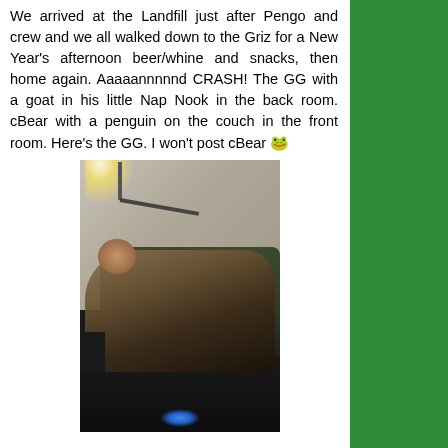We arrived at the Landfill just after Pengo and crew and we all walked down to the Griz for a New Year's afternoon beer/whine and snacks, then home again. Aaaaannnnnd CRASH! The GG with a goat in his little Nap Nook in the back room. cBear with a penguin on the couch in the front room. Here's the GG. I won't post cBear 🐸
[Figure (photo): A person sleeping on a couch/sofa in a dimly lit room. A lamp is visible in the upper left corner casting a bright light. There is a blue glowing light visible on the floor at the bottom of the image. The person is lying down with dark clothing.]